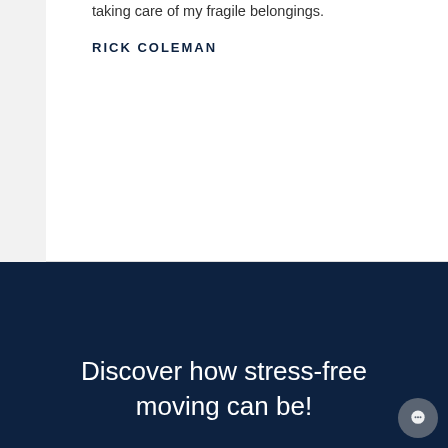taking care of my fragile belongings.
RICK COLEMAN
Discover how stress-free moving can be!